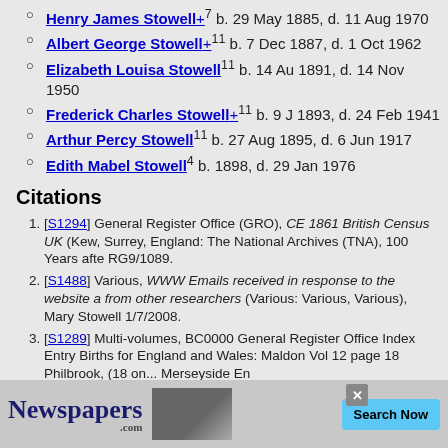Henry James Stowell+ b. 29 May 1885, d. 11 Aug 1970
Albert George Stowell+ b. 7 Dec 1887, d. 1 Oct 1962
Elizabeth Louisa Stowell b. 14 Aug 1891, d. 14 Nov 1950
Frederick Charles Stowell+ b. 9 J... 1893, d. 24 Feb 1941
Arthur Percy Stowell b. 27 Aug 1895, d. 6 Jun 1917
Edith Mabel Stowell b. 1898, d. 29 Jan 1976
Citations
[S1294] General Register Office (GRO), CE 1861 British Census UK (Kew, Surrey, England: The National Archives (TNA), 100 Years afte... RG9/1089.
[S1488] Various, WWW Emails received in response to the website a... from other researchers (Various: Various, Various), Mary Stowell 1/7/2008.
[S1289] Multi-volumes, BC0000 General Register Office Index Entry Births for England and Wales: Maldon Vol 12 page 18 Philbrook, (18... on... Merseyside... En...
[Figure (other): Advertisement banner for Newspapers.com with Search Now button and close button]